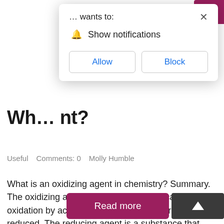[Figure (screenshot): Browser notification permission dialog with '... wants to:' header, bell icon and 'Show notifications' text, and Allow/Block buttons]
Wh... nt?
Useful   Comments: 0   Molly Humble
What is an oxidizing agent in chemistry? Summary. The oxidizing agent is a substance that causes oxidation by accepting electrons; therefore, it gets reduced. The reducing agent is a substance that causes reduction by losing electrons; therefore it gets oxidized. What is an oxidizing agent example? What is an Oxidizing Agent? Common examples of oxidizing ...